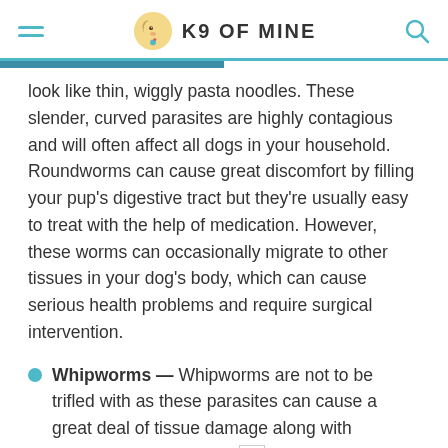K9 OF MINE
look like thin, wiggly pasta noodles. These slender, curved parasites are highly contagious and will often affect all dogs in your household. Roundworms can cause great discomfort by filling your pup's digestive tract but they're usually easy to treat with the help of medication. However, these worms can occasionally migrate to other tissues in your dog's body, which can cause serious health problems and require surgical intervention.
Whipworms — Whipworms are not to be trifled with as these parasites can cause a great deal of tissue damage along with symptoms like lethargy, weight loss, and bloody diarrhea. Whipworms are usually contracted via the fecal-oral route (such as